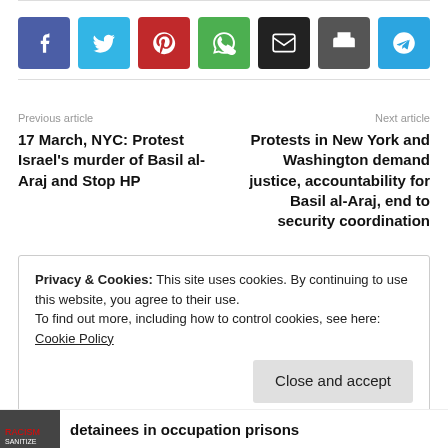[Figure (other): Social media sharing buttons: Facebook (blue), Twitter (light blue), Pinterest (red), WhatsApp (green), Email (black), Print (dark grey), Telegram (blue)]
Previous article
Next article
17 March, NYC: Protest Israel's murder of Basil al-Araj and Stop HP
Protests in New York and Washington demand justice, accountability for Basil al-Araj, end to security coordination
Privacy & Cookies: This site uses cookies. By continuing to use this website, you agree to their use.
To find out more, including how to control cookies, see here: Cookie Policy
Close and accept
detainees in occupation prisons